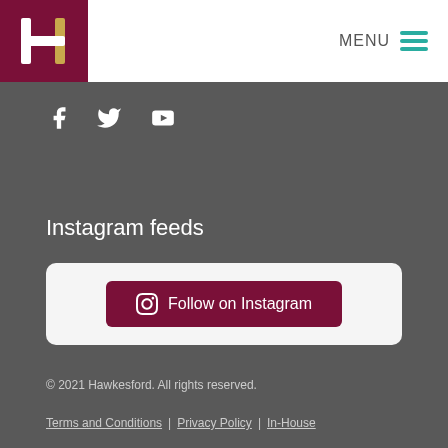[Figure (logo): Hawkesford H logo in white/gold on dark red background]
MENU
[Figure (other): Hamburger menu icon with three teal lines]
[Figure (other): Social media icons: Facebook, Twitter, YouTube in white on dark grey background]
Instagram feeds
[Figure (other): Follow on Instagram button inside a light rounded card]
© 2021 Hawkesford. All rights reserved.
Terms and Conditions | Privacy Policy | In-House